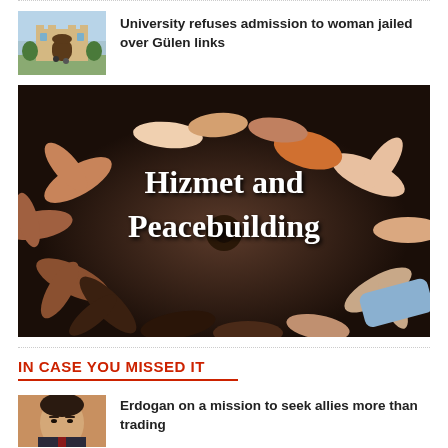[Figure (photo): Thumbnail image of a university building with an archway entrance]
University refuses admission to woman jailed over Gülen links
[Figure (photo): Large image of diverse hands joined together in a circle with text overlay 'Hizmet and Peacebuilding']
IN CASE YOU MISSED IT
[Figure (photo): Thumbnail image of Erdogan]
Erdogan on a mission to seek allies more than trading